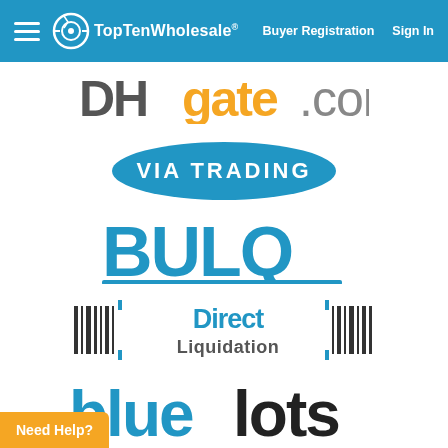TopTenWholesale® | Buyer Registration | Sign In
[Figure (logo): DHgate.com logo — 'DH' in dark gray bold, 'gate' in yellow/gold, '.com' in gray]
[Figure (logo): Via Trading logo — white text on blue oval/ellipse shape]
[Figure (logo): BULQ logo — large bold blue letters with bar below Q]
[Figure (logo): Direct Liquidation logo — barcode graphics flanking 'Direct Liquidation' text in blue and dark]
[Figure (logo): bluelots logo — 'blue' in blue, 'lots' in dark/black bold lowercase]
Need Help?